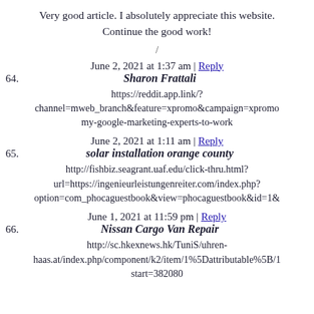Very good article. I absolutely appreciate this website. Continue the good work!
/
June 2, 2021 at 1:37 am | Reply
64. Sharon Frattali
https://reddit.app.link/?channel=mweb_branch&feature=xpromo&campaign=xpromo my-google-marketing-experts-to-work
June 2, 2021 at 1:11 am | Reply
65. solar installation orange county
http://fishbiz.seagrant.uaf.edu/click-thru.html?url=https://ingenieurleistungenreiter.com/index.php?option=com_phocaguestbook&view=phocaguestbook&id=1&
June 1, 2021 at 11:59 pm | Reply
66. Nissan Cargo Van Repair
http://sc.hkexnews.hk/TuniS/uhren-haas.at/index.php/component/k2/item/1%5Dattributable%5B/1 start=382080